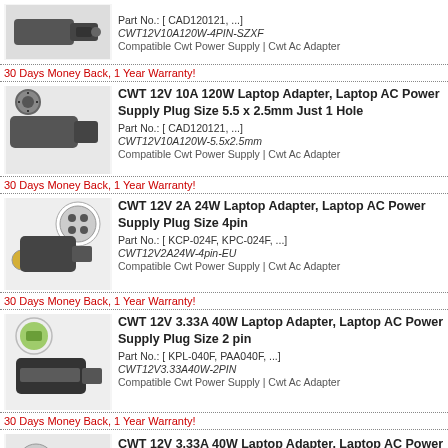[Figure (photo): CWT 12V 10A 120W power adapter with 4-pin connector]
Part No.: [ CAD120121, ...]
CWT12V10A120W-4PIN-SZXF
Compatible Cwt Power Supply | Cwt Ac Adapter
30 Days Money Back, 1 Year Warranty!
[Figure (photo): CWT 12V 10A 120W power adapter with 5.5x2.5mm plug]
CWT 12V 10A 120W Laptop Adapter, Laptop AC Power Supply Plug Size 5.5 x 2.5mm Just 1 Hole
Part No.: [ CAD120121, ...]
CWT12V10A120W-5.5x2.5mm
Compatible Cwt Power Supply | Cwt Ac Adapter
30 Days Money Back, 1 Year Warranty!
[Figure (photo): CWT 12V 2A 24W power adapter with 4-pin EU plug]
CWT 12V 2A 24W Laptop Adapter, Laptop AC Power Supply Plug Size 4pin
Part No.: [ KCP-024F, KPC-024F, ...]
CWT12V2A24W-4pin-EU
Compatible Cwt Power Supply | Cwt Ac Adapter
30 Days Money Back, 1 Year Warranty!
[Figure (photo): CWT 12V 3.33A 40W power adapter with 2-pin plug]
CWT 12V 3.33A 40W Laptop Adapter, Laptop AC Power Supply Plug Size 2 pin
Part No.: [ KPL-040F, PAA040F, ...]
CWT12V3.33A40W-2PIN
Compatible Cwt Power Supply | Cwt Ac Adapter
30 Days Money Back, 1 Year Warranty!
[Figure (photo): CWT 12V 3.33A 40W power adapter with 4-pin plug]
CWT 12V 3.33A 40W Laptop Adapter, Laptop AC Power Supply Plug Size 4